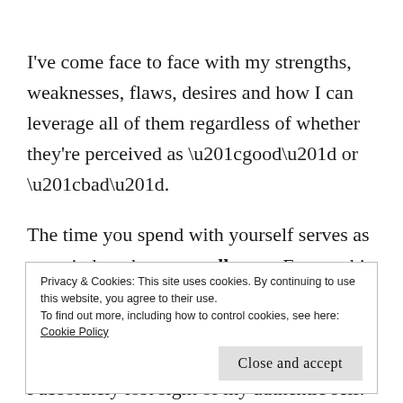I've come face to face with my strengths, weaknesses, flaws, desires and how I can leverage all of them regardless of whether they're perceived as “good” or “bad”.
The time you spend with yourself serves as a reminder who you really are.  For me this meant recognizing the little bits of me that I lost, or really just kind of lost focus of.  I'm not saying that I didn't know who I was, but I absolutely lost sight of my authentic self.  I bent
Privacy & Cookies: This site uses cookies. By continuing to use this website, you agree to their use.
To find out more, including how to control cookies, see here: Cookie Policy